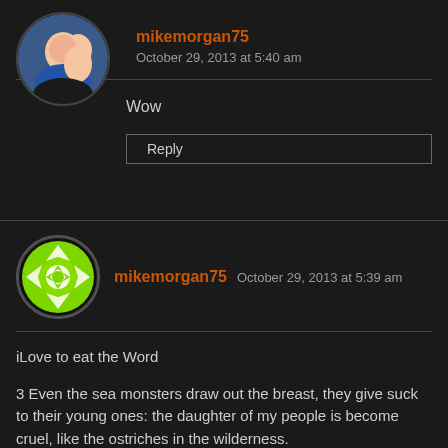[Figure (photo): Circular avatar photo of two people, a selfie style photo with a person in a blue top and another person]
mikemorgan75
October 29, 2013 at 5:40 am
Wow
Reply
[Figure (illustration): Circular avatar with green and white geometric/floral pattern design]
mikemorgan75  October 29, 2013 at 5:39 am
iLove to eat the Word
3 Even the sea monsters draw out the breast, they give suck to their young ones: the daughter of my people is become cruel, like the ostriches in the wilderness.
Let’s not be like the ostrich POFW, the ostrich does not love her children